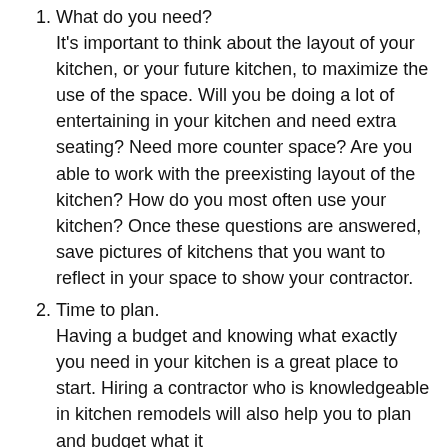What do you need? It's important to think about the layout of your kitchen, or your future kitchen, to maximize the use of the space. Will you be doing a lot of entertaining in your kitchen and need extra seating? Need more counter space? Are you able to work with the preexisting layout of the kitchen? How do you most often use your kitchen? Once these questions are answered, save pictures of kitchens that you want to reflect in your space to show your contractor.
Time to plan. Having a budget and knowing what exactly you need in your kitchen is a great place to start. Hiring a contractor who is knowledgeable in kitchen remodels will also help you to plan and budget what it